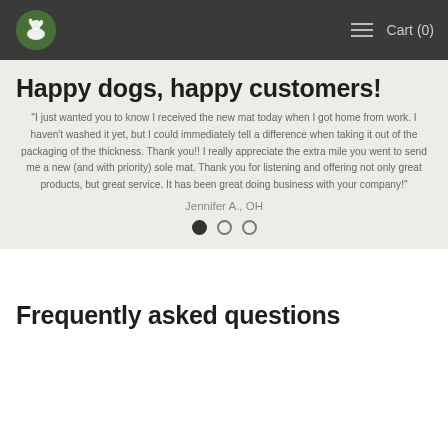Cart (0)
Happy dogs, happy customers!
“I just wanted you to know I received the new mat today when I got home from work. I haven’t washed it yet, but I could immediately tell a difference when taking it out of the packaging of the thickness. Thank you!! I really appreciate the extra mile you went to send me a new (and with priority) sole mat. Thank you for listening and offering not only great products, but great service. It has been great doing business with your company!”
Jennifer A., OH
Frequently asked questions